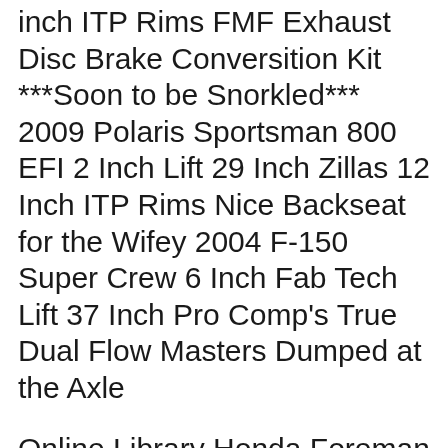inch ITP Rims FMF Exhaust Disc Brake Conversition Kit ***Soon to be Snorkled*** 2009 Polaris Sportsman 800 EFI 2 Inch Lift 29 Inch Zillas 12 Inch ITP Rims Nice Backseat for the Wifey 2004 F-150 Super Crew 6 Inch Fab Tech Lift 37 Inch Pro Comp's True Dual Flow Masters Dumped at the Axle
Online Library Honda Foreman 450 S Repair Manual - Centrifugal Basket Plate Removal In This video we are explaining and tearing into a clutch system on a 98 Honda Trx450s Motor. You DO NOT have to pull this Fixing a oil plug leak on a 2003 Honda Foreman 450 ES - Solution Honda Foreman oil plug leak fix. This video shows you how to repair a